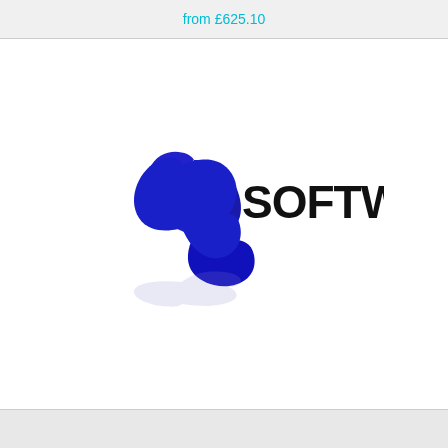from £625.10
[Figure (logo): A software company logo consisting of a dark blue stylized leaf/globe icon made of three curved petal shapes arranged in a circular pattern with a reflection below, and the word SOFTWARE in bold black text to the right.]